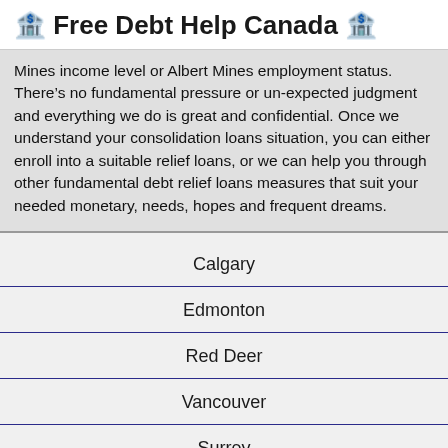🏦 Free Debt Help Canada 🏦
Mines income level or Albert Mines employment status. There's no fundamental pressure or un-expected judgment and everything we do is great and confidential. Once we understand your consolidation loans situation, you can either enroll into a suitable relief loans, or we can help you through other fundamental debt relief loans measures that suit your needed monetary, needs, hopes and frequent dreams.
Calgary
Edmonton
Red Deer
Vancouver
Surrey